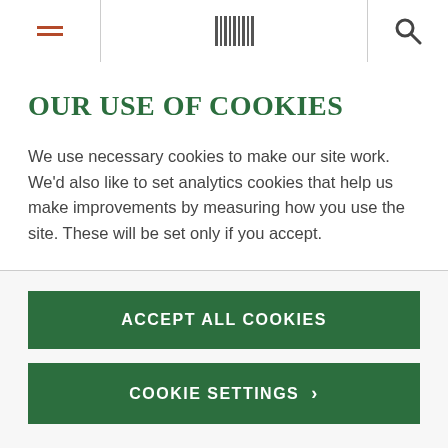Navigation bar with hamburger menu, barcode/logo, and search icon
OUR USE OF COOKIES
We use necessary cookies to make our site work. We'd also like to set analytics cookies that help us make improvements by measuring how you use the site. These will be set only if you accept.
ACCEPT ALL COOKIES
COOKIE SETTINGS
tseulturerse@tngel.org